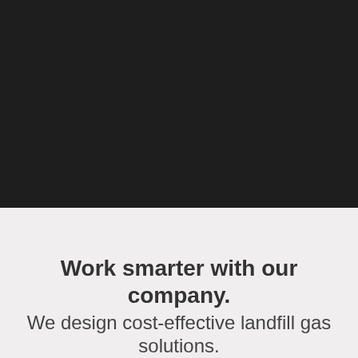[Figure (photo): Dark/black photographic image filling the top portion of the page]
Work smarter with our company.
We design cost-effective landfill gas solutions.